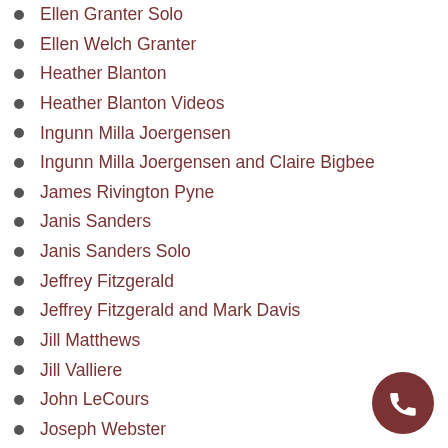Ellen Granter Solo
Ellen Welch Granter
Heather Blanton
Heather Blanton Videos
Ingunn Milla Joergensen
Ingunn Milla Joergensen and Claire Bigbee
James Rivington Pyne
Janis Sanders
Janis Sanders Solo
Jeffrey Fitzgerald
Jeffrey Fitzgerald and Mark Davis
Jill Matthews
Jill Valliere
John LeCours
Joseph Webster
Julia M. Doughty
Karen Bruson
Karen McManus
Kathy Ostrander Roberts